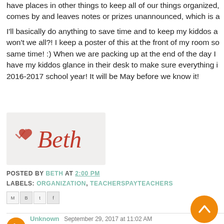have places in order, things to keep all of our things organized,  comes by and leaves notes or prizes unannounced, which is a
I'll basically do anything to save time and to keep my kiddos a won't we all?! I keep a poster of this at the front of my room so same time! :) When we are packing up at the end of the day I have my kiddos glance in their desk to make sure everything i 2016-2017 school year! It will be May before we know it!
[Figure (illustration): Signature graphic with a heart and the name 'Beth' in pink cursive on a light background]
POSTED BY BETH AT 2:00 PM
LABELS: ORGANIZATION, TEACHERSPAYTEACHERS
Share icons: Email, BlogThis, Share to Twitter, Share to Facebook
Unknown  September 29, 2017 at 11:02 AM
For wholesale distributors of fast-moving consumer goods, FMCG, need to place remote orders on portable, wireless computing device